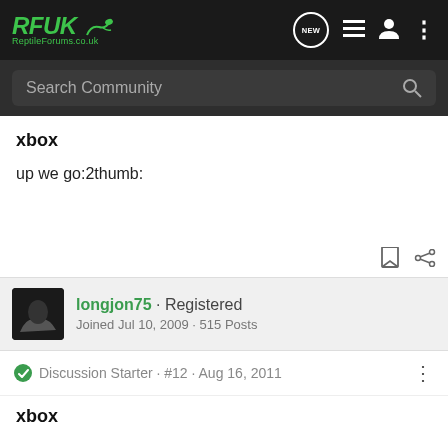RFUK Reptile Forums.co.uk — Navigation bar with search
xbox
up we go:2thumb:
longjon75 · Registered
Joined Jul 10, 2009 · 515 Posts
Discussion Starter · #12 · Aug 16, 2011
xbox